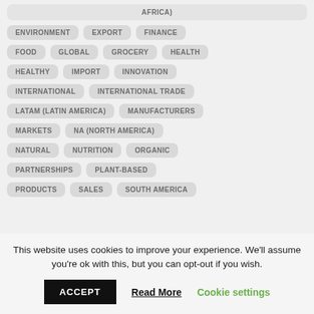AFRICA)
ENVIRONMENT
EXPORT
FINANCE
FOOD
GLOBAL
GROCERY
HEALTH
HEALTHY
IMPORT
INNOVATION
INTERNATIONAL
INTERNATIONAL TRADE
LATAM (LATIN AMERICA)
MANUFACTURERS
MARKETS
NA (NORTH AMERICA)
NATURAL
NUTRITION
ORGANIC
PARTNERSHIPS
PLANT-BASED
PRODUCTS
SALES
SOUTH AMERICA
This website uses cookies to improve your experience. We'll assume you're ok with this, but you can opt-out if you wish.
ACCEPT | Read More | Cookie settings